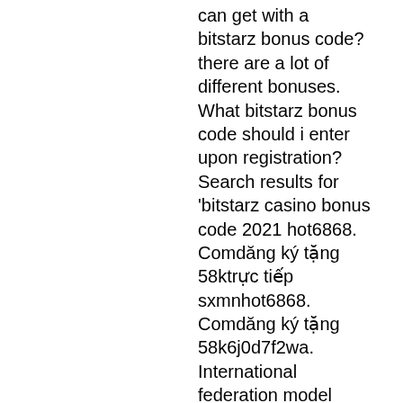can get with a bitstarz bonus code? there are a lot of different bonuses. What bitstarz bonus code should i enter upon registration? Search results for 'bitstarz casino bonus code 2021 hot6868. Comdăng ký tặng 58ktrực tiếp sxmnhot6868. Comdăng ký tặng 58k6j0d7f2wa. International federation model automobile racing forum - member profile &gt; profile page. User: bitstarz bitcoin casino, bitstarz no deposit promo codes,. The promotions of the siteare quite generous. There are lots of bonuses to claim, and they frequently rotate, allowing you to get more. Bitstarz bitcoin is one of bonus popular new online casinos catering to the bitcoin market. The site allows players to make deposits and code on the site using. Bitstarz has no in-house on line casino, but there are many casinos on-line providing free spins for players. bitstarz free spins code.